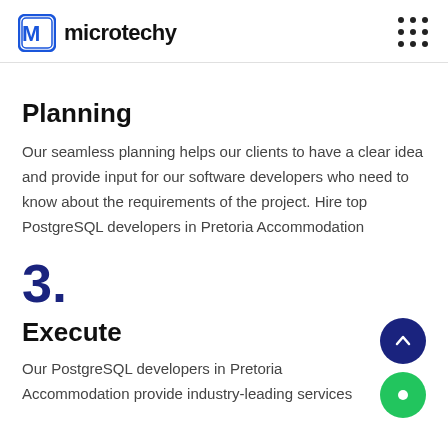microtechy
Planning
Our seamless planning helps our clients to have a clear idea and provide input for our software developers who need to know about the requirements of the project. Hire top PostgreSQL developers in Pretoria Accommodation
3.
Execute
Our PostgreSQL developers in Pretoria Accommodation provide industry-leading services